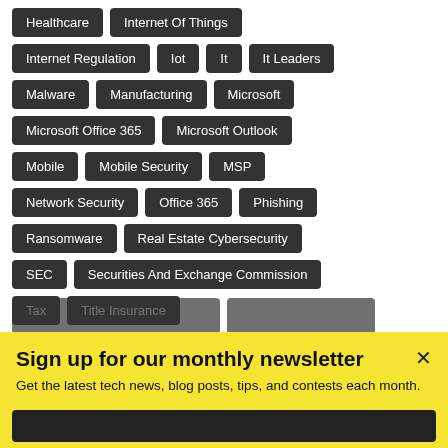Healthcare
Internet Of Things
Internet Regulation
Iot
It
It Leaders
Malware
Manufacturing
Microsoft
Microsoft Office 365
Microsoft Outlook
Mobile
Mobile Security
MSP
Network Security
Office 365
Phishing
Ransomware
Real Estate Cybersecurity
SEC
Securities And Exchange Commission
Tax
Title Insurance
Sign up for our monthly newsletter
Get the latest tech news, blog posts, tips, and contests each month.